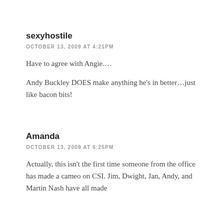sexyhostile
OCTOBER 13, 2009 AT 4:21PM
Have to agree with Angie....
Andy Buckley DOES make anything he's in better…just like bacon bits!
Amanda
OCTOBER 13, 2009 AT 6:25PM
Actually, this isn't the first time someone from the office has made a cameo on CSI. Jim, Dwight, Jan, Andy, and Martin Nash have all made